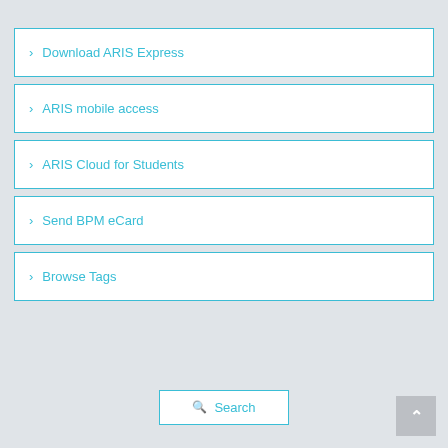> Download ARIS Express
> ARIS mobile access
> ARIS Cloud for Students
> Send BPM eCard
> Browse Tags
Search
^